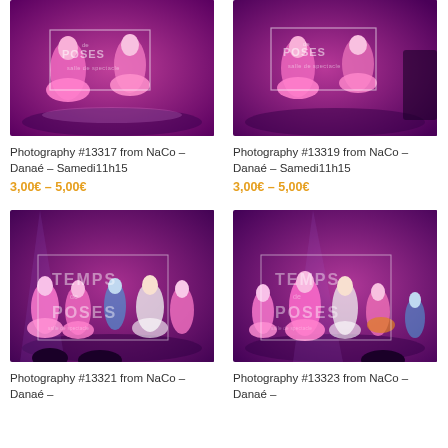[Figure (photo): Dance performance on stage, pink costumes, 'POSES' watermark, purple lighting]
Photography #13317 from NaCo – Danaé – Samedi11h15
3,00€ – 5,00€
[Figure (photo): Dance performance on stage, pink costumes, 'POSES' watermark, purple lighting]
Photography #13319 from NaCo – Danaé – Samedi11h15
3,00€ – 5,00€
[Figure (photo): Children dance performance on stage, pink and white costumes, 'TEMPS de POSES' watermark, purple lighting]
Photography #13321 from NaCo – Danaé –
[Figure (photo): Children dance performance on stage, pink and white costumes, 'TEMPS de POSES' watermark, purple lighting]
Photography #13323 from NaCo – Danaé –